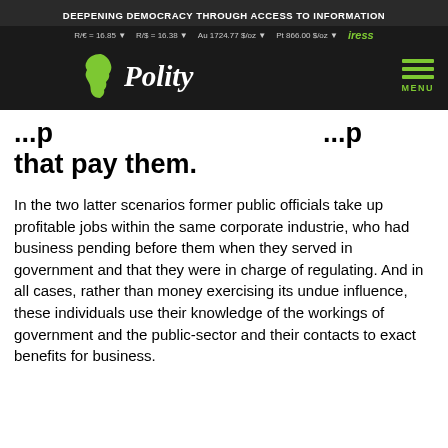DEEPENING DEMOCRACY THROUGH ACCESS TO INFORMATION
R/€ = 16.85 ▼   R/$ = 16.38 ▼   Au 1724.77 $/oz ▼   Pt 866.00 $/oz ▼   iress
[Figure (logo): Polity website logo with Africa silhouette and MENU hamburger icon]
that pay them.
In the two latter scenarios former public officials take up profitable jobs within the same corporate industrie, who had business pending before them when they served in government and that they were in charge of regulating. And in all cases, rather than money exercising its undue influence, these individuals use their knowledge of the workings of government and the public-sector and their contacts to exact benefits for business.